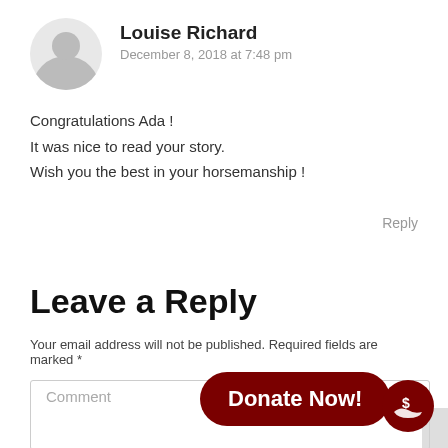Louise Richard
December 8, 2018 at 7:48 pm
Congratulations Ada !
It was nice to read your story.
Wish you the best in your horsemanship !
Reply
Leave a Reply
Your email address will not be published. Required fields are marked *
Comment